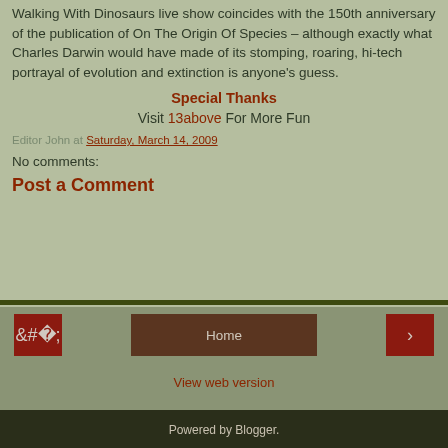Walking With Dinosaurs live show coincides with the 150th anniversary of the publication of On The Origin Of Species – although exactly what Charles Darwin would have made of its stomping, roaring, hi-tech portrayal of evolution and extinction is anyone's guess.
Special Thanks
Visit 13above For More Fun
Editor John at Saturday, March 14, 2009
No comments:
Post a Comment
Home | View web version | Powered by Blogger.